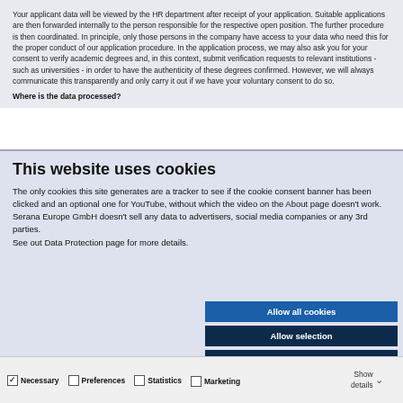Your applicant data will be viewed by the HR department after receipt of your application. Suitable applications are then forwarded internally to the person responsible for the respective open position. The further procedure is then coordinated. In principle, only those persons in the company have access to your data who need this for the proper conduct of our application procedure. In the application process, we may also ask you for your consent to verify academic degrees and, in this context, submit verification requests to relevant institutions - such as universities - in order to have the authenticity of these degrees confirmed. However, we will always communicate this transparently and only carry it out if we have your voluntary consent to do so.
Where is the data processed?
This website uses cookies
The only cookies this site generates are a tracker to see if the cookie consent banner has been clicked and an optional one for YouTube, without which the video on the About page doesn't work. Serana Europe GmbH doesn't sell any data to advertisers, social media companies or any 3rd parties.
See out Data Protection page for more details.